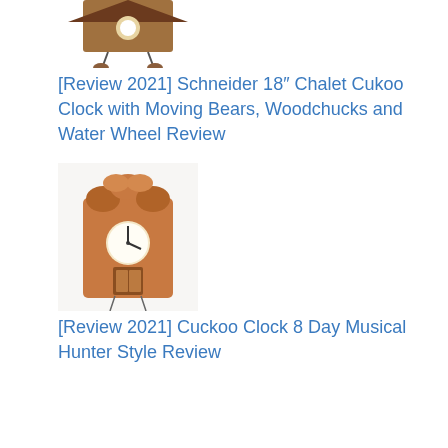[Figure (photo): Cuckoo clock with pendulum weights, top portion visible]
[Review 2021] Schneider 18″ Chalet Cukoo Clock with Moving Bears, Woodchucks and Water Wheel Review
[Figure (photo): Hunter style cuckoo clock with carved leaves and bird]
[Review 2021] Cuckoo Clock 8 Day Musical Hunter Style Review
[Figure (photo): Chalet style cuckoo clock with chalet building, spinning wheel details]
[Review 2021] Chalet 8-Day Cuckoo Clock with Spinning Wheel & Woodchopper Review
[Figure (photo): Chalet cuckoo clock, partially visible at bottom of page]